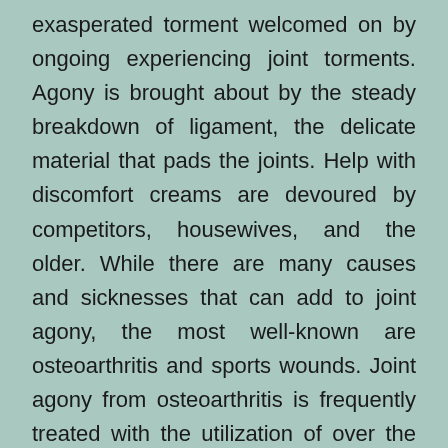exasperated torment welcomed on by ongoing experiencing joint torments. Agony is brought about by the steady breakdown of ligament, the delicate material that pads the joints. Help with discomfort creams are devoured by competitors, housewives, and the older. While there are many causes and sicknesses that can add to joint agony, the most well-known are osteoarthritis and sports wounds. Joint agony from osteoarthritis is frequently treated with the utilization of over the counter and professionally prescribed prescriptions. With worries ascending in the clinical field as of late with regards to coronary illness risks of a few doctor prescribed drugs, many individuals are searching for a protected choice to manage joint agony. There are many agony mitigating strategies which can be attempted.